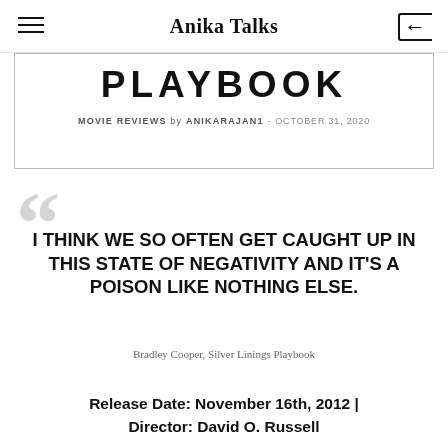Anika Talks
[Figure (screenshot): Partially visible movie review banner with large bold text 'PLAYBOOK', byline 'MOVIE REVIEWS by ANIKARAJAN1 - OCTOBER 31, 2020', inside a rectangular border]
I THINK WE SO OFTEN GET CAUGHT UP IN THIS STATE OF NEGATIVITY AND IT'S A POISON LIKE NOTHING ELSE.
Bradley Cooper, Silver Linings Playbook
Release Date: November 16th, 2012 | Director: David O. Russell